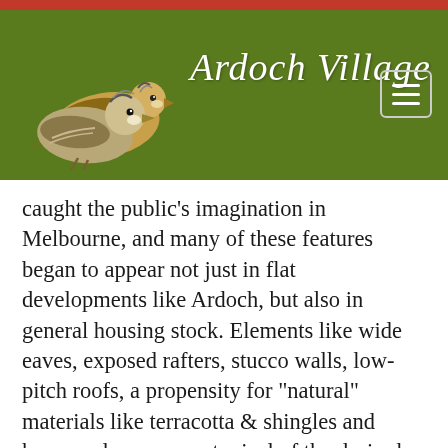Ardoch Village
caught the public’s imagination in Melbourne, and many of these features began to appear not just in flat developments like Ardoch, but also in general housing stock. Elements like wide eaves, exposed rafters, stucco walls, low-pitch roofs, a propensity for “natural” materials like terracotta & shingles and heavy columns were typical of the desired style.
Comparative Landscaped Garden Flats
While the…